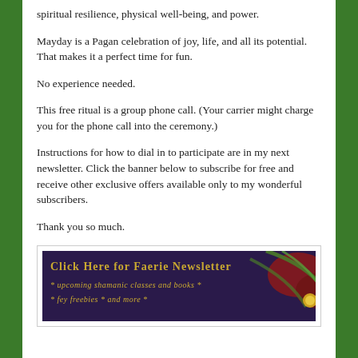spiritual resilience, physical well-being, and power.
Mayday is a Pagan celebration of joy, life, and all its potential. That makes it a perfect time for fun.
No experience needed.
This free ritual is a group phone call. (Your carrier might charge you for the phone call into the ceremony.)
Instructions for how to dial in to participate are in my next newsletter. Click the banner below to subscribe for free and receive other exclusive offers available only to my wonderful subscribers.
Thank you so much.
[Figure (illustration): Banner advertisement for Faerie Newsletter with dark purple background and floral/vine design. Text reads: CLICK HERE FOR FAERIE NEWSLETTER * UPCOMING SHAMANIC CLASSES AND BOOKS * * FEY FREEBIES * AND MORE *]